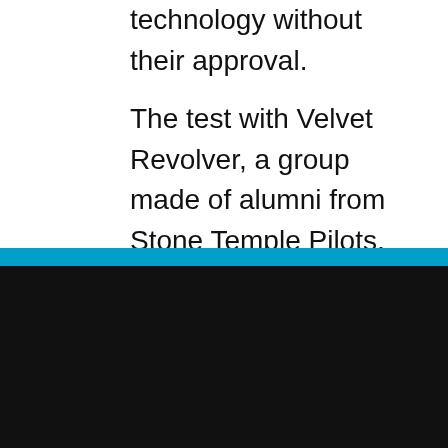to include the technology without their approval.
The test with Velvet Revolver, a group made of alumni from Stone Temple Pilots,
COOKIE NOTICE
We utilize cookie technology to collect data regarding the number of visits a person has made to our site. This data is stored in aggregate form and is in no way singled out in an individual file. This information allows us to know what pages/sites are of interest to our users and what pages/sites may be of less interest. See more